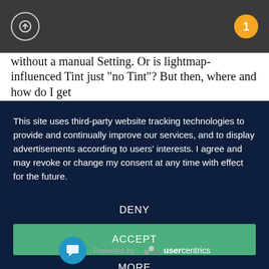[Figure (screenshot): Dark grey top bar with an up-arrow circle icon on the left and a yellow badge with number 1 on the right]
without a manual Setting. Or is lightmap-influenced Tint just "no Tint"? But then, where and how do I get
This site uses third-party website tracking technologies to provide and continually improve our services, and to display advertisements according to users' interests. I agree and may revoke or change my consent at any time with effect for the future.
DENY
ACCEPT
MORE
Powered by usercentrics